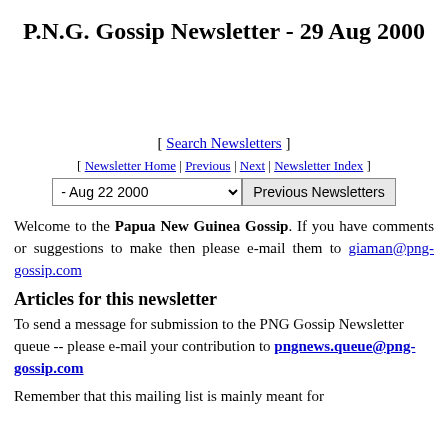P.N.G. Gossip Newsletter - 29 Aug 2000
[ Search Newsletters ]
[ Newsletter Home | Previous | Next | Newsletter Index ]
- Aug 22 2000   [dropdown]   Previous Newsletters [button]
Welcome to the Papua New Guinea Gossip. If you have comments or suggestions to make then please e-mail them to giaman@png-gossip.com
Articles for this newsletter
To send a message for submission to the PNG Gossip Newsletter queue -- please e-mail your contribution to pngnews.queue@png-gossip.com
Remember that this mailing list is mainly meant for